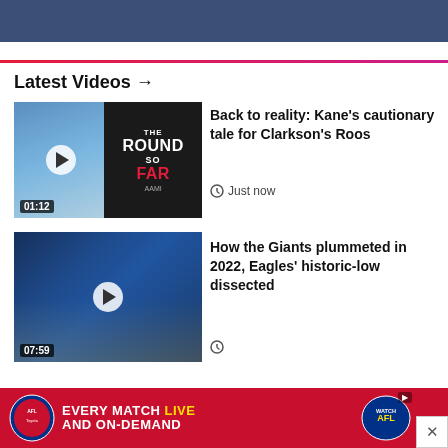Latest Videos →
[Figure (screenshot): Video thumbnail: The Round So Far, featuring a man in blue AFL jersey holding a football, with AAMI sponsor text. Duration: 01:12]
Back to reality: Kane's cautionary tale for Clarkson's Roos
Just now
[Figure (screenshot): Video thumbnail: AFL players in blue and gold uniforms (West Coast Eagles) walking on the field. Duration: 07:59]
How the Giants plummeted in 2022, Eagles' historic-low dissected
[Figure (infographic): AFL advertisement banner: EVERY MATCH LIVE AND ON-DEMAND with AFL badge and Watch AFL badge]